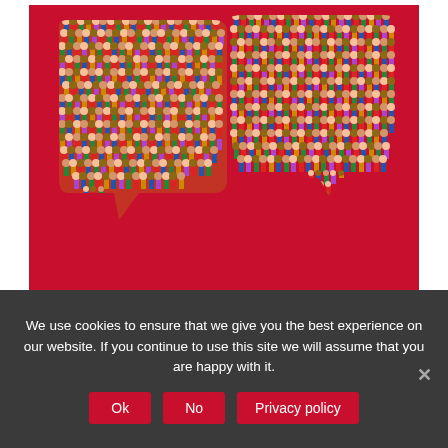[Figure (illustration): Two speech bubble shapes made up of crowds of colorful people against a red background, symbolizing conversation or community dialogue.]
We use cookies to ensure that we give you the best experience on our website. If you continue to use this site we will assume that you are happy with it.